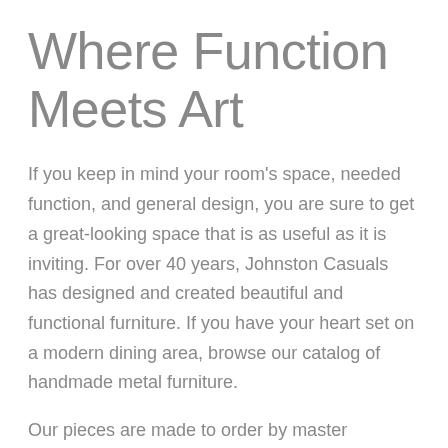Where Function Meets Art
If you keep in mind your room's space, needed function, and general design, you are sure to get a great-looking space that is as useful as it is inviting. For over 40 years, Johnston Casuals has designed and created beautiful and functional furniture. If you have your heart set on a modern dining area, browse our catalog of handmade metal furniture.
Our pieces are made to order by master craftsmen in Wilkesboro, NC. From tables and chairs to shelves, we pride ourselves on